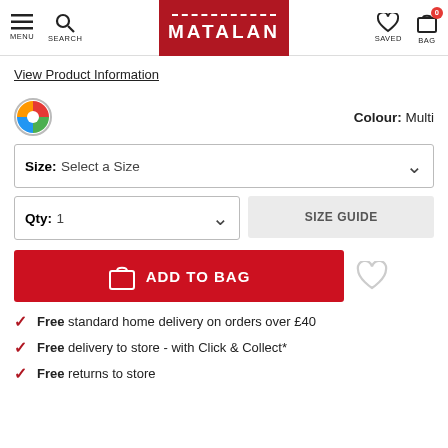[Figure (screenshot): Matalan website header with menu, search, logo, saved and bag icons]
View Product Information
Colour: Multi
Size: Select a Size
Qty: 1
SIZE GUIDE
ADD TO BAG
Free standard home delivery on orders over £40
Free delivery to store - with Click & Collect*
Free returns to store